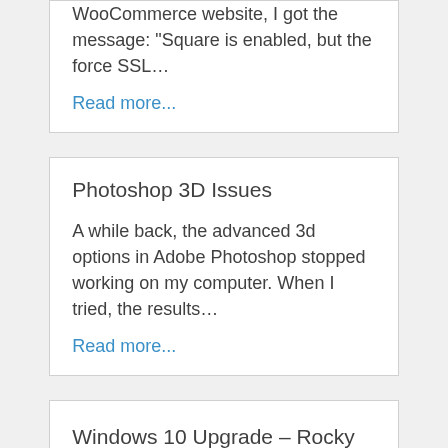WooCommerce website, I got the message: “Square is enabled, but the force SSL…
Read more...
Photoshop 3D Issues
A while back, the advanced 3d options in Adobe Photoshop stopped working on my computer. When I tried, the results…
Read more...
Windows 10 Upgrade – Rocky start but then easier than pie!
I finally updated my main PC from Windows 7 to Windows…